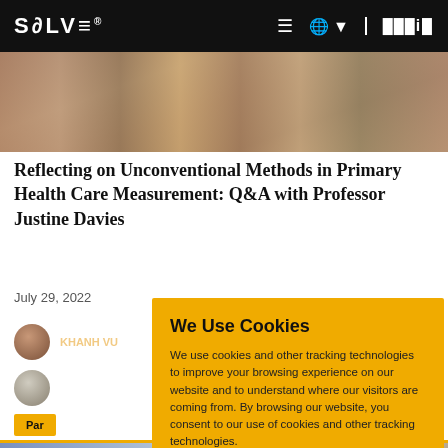SOLVE® [MIT logo]
[Figure (photo): Group of people gathered outdoors, some holding papers, partially visible at top of page]
Reflecting on Unconventional Methods in Primary Health Care Measurement: Q&A with Professor Justine Davies
July 29, 2022
KHANH VU
We Use Cookies
We use cookies and other tracking technologies to improve your browsing experience on our website and to understand where our visitors are coming from. By browsing our website, you consent to our use of cookies and other tracking technologies.
ACCEPT
REJECT
[Figure (photo): Group of people at bottom of page, partially visible]